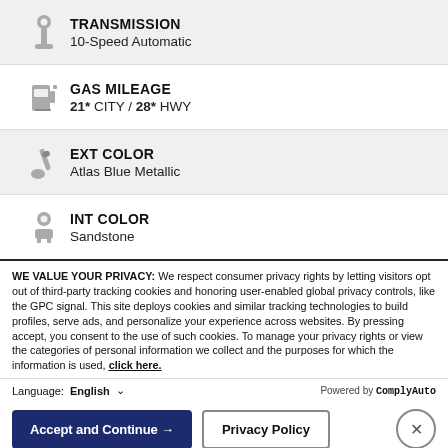TRANSMISSION
10-Speed Automatic
GAS MILEAGE
21* CITY / 28* HWY
EXT COLOR
Atlas Blue Metallic
INT COLOR
Sandstone
WE VALUE YOUR PRIVACY: We respect consumer privacy rights by letting visitors opt out of third-party tracking cookies and honoring user-enabled global privacy controls, like the GPC signal. This site deploys cookies and similar tracking technologies to build profiles, serve ads, and personalize your experience across websites. By pressing accept, you consent to the use of such cookies. To manage your privacy rights or view the categories of personal information we collect and the purposes for which the information is used, click here.
Language: English  Powered by ComplyAuto
Accept and Continue → Privacy Policy ×